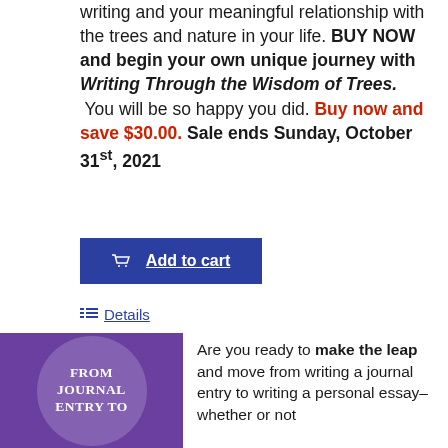writing and your meaningful relationship with the trees and nature in your life. BUY NOW and begin your own unique journey with Writing Through the Wisdom of Trees. You will be so happy you did. Buy now and save $30.00. Sale ends Sunday, October 31st, 2021
[Figure (screenshot): Blue 'Add to cart' button with shopping cart icon and underlined text]
Details
[Figure (illustration): Book cover with purple background showing text FROM JOURNAL ENTRY TO with circular design element]
Are you ready to make the leap and move from writing a journal entry to writing a personal essay–whether or not